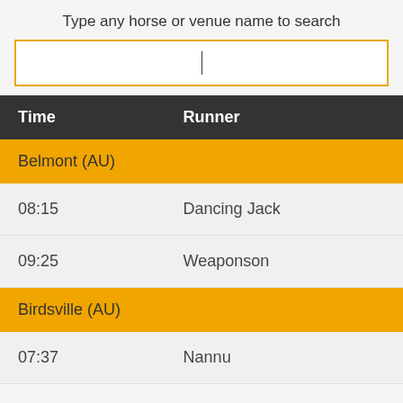Type any horse or venue name to search
| Time | Runner |
| --- | --- |
| Belmont (AU) |  |
| 08:15 | Dancing Jack |
| 09:25 | Weaponson |
| Birdsville (AU) |  |
| 07:37 | Nannu |